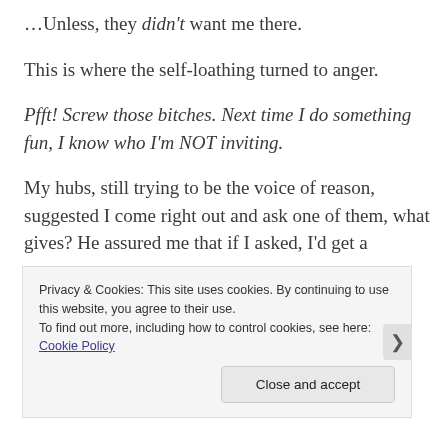…Unless, they didn't want me there.
This is where the self-loathing turned to anger.
Pfft! Screw those bitches. Next time I do something fun, I know who I'm NOT inviting.
My hubs, still trying to be the voice of reason, suggested I come right out and ask one of them, what gives? He assured me that if I asked, I'd get a
Privacy & Cookies: This site uses cookies. By continuing to use this website, you agree to their use.
To find out more, including how to control cookies, see here: Cookie Policy